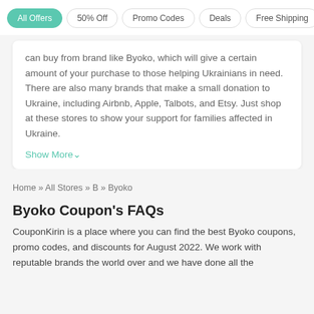All Offers | 50% Off | Promo Codes | Deals | Free Shipping
can buy from brand like Byoko, which will give a certain amount of your purchase to those helping Ukrainians in need. There are also many brands that make a small donation to Ukraine, including Airbnb, Apple, Talbots, and Etsy. Just shop at these stores to show your support for families affected in Ukraine.
Show More
Home » All Stores » B » Byoko
Byoko Coupon's FAQs
CouponKirin is a place where you can find the best Byoko coupons, promo codes, and discounts for August 2022. We work with reputable brands the world over and we have done all the